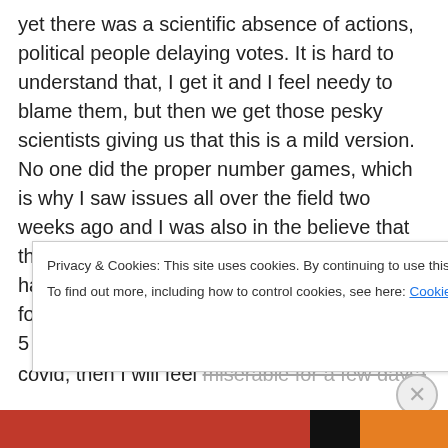yet there was a scientific absence of actions, political people delaying votes. It is hard to understand that, I get it and I feel needy to blame them, but then we get those pesky scientists giving us that this is a mild version. No one did the proper number games, which is why I saw issues all over the field two weeks ago and I was also in the believe that there was a little more time than we actually have and that is on me, I take responsibilities for my choices, but I kept at least 4 out of the 5 elements in check, so I feel fine (unless I get covid, then I will feel miserable for a few days)
Privacy & Cookies: This site uses cookies. By continuing to use this website, you agree to their use. To find out more, including how to control cookies, see here: Cookie Policy